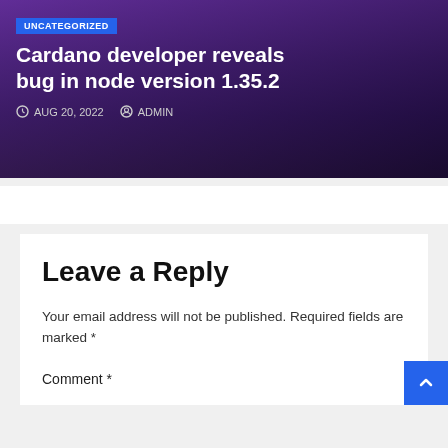[Figure (screenshot): Article card with dark purple gradient background, UNCATEGORIZED badge, article title, and meta info]
Cardano developer reveals bug in node version 1.35.2
AUG 20, 2022   ADMIN
Leave a Reply
Your email address will not be published. Required fields are marked *
Comment *